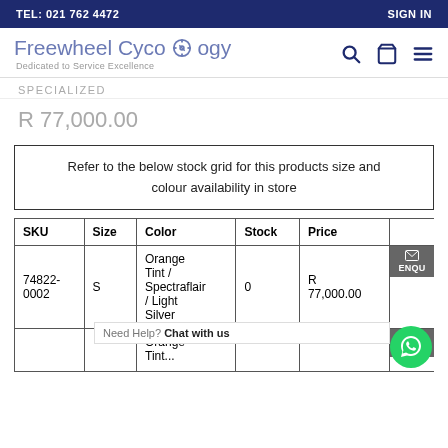TEL: 021 762 4472 | SIGN IN
[Figure (logo): Freewheel Cycology logo with tagline 'Dedicated to Service Excellence' and navigation icons (search, cart, menu)]
SPECIALIZED
R 77,000.00
Refer to the below stock grid for this products size and colour availability in store
| SKU | Size | Color | Stock | Price |  |
| --- | --- | --- | --- | --- | --- |
| 74822-0002 | S | Orange Tint / Spectraflair / Light Silver | 0 | R 77,000.00 | ENQU |
|  |  | Orange Tint... |  |  |  |